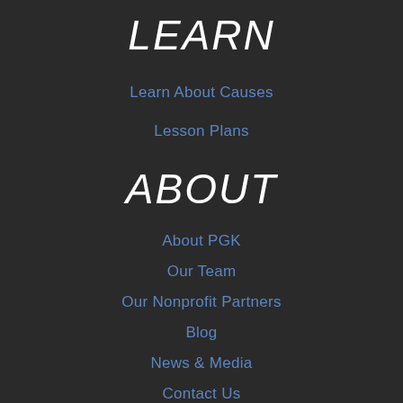LEARN
Learn About Causes
Lesson Plans
ABOUT
About PGK
Our Team
Our Nonprofit Partners
Blog
News & Media
Contact Us